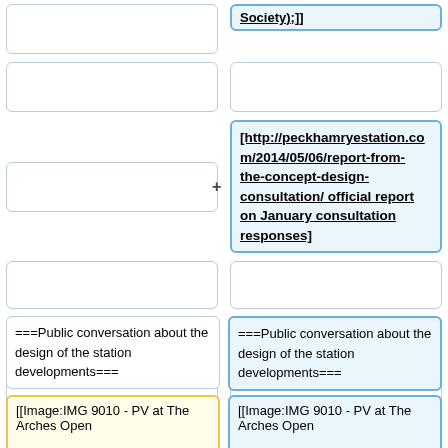Society);]]
[http://peckhamryestation.com/2014/05/06/report-from-the-concept-design-consultation/ official report on January consultation responses]
==2013==
===Public conversation about the design of the station developments===
===Public conversation about the design of the station developments===
[[Image:IMG 9010 - PV at The Arches Open
[[Image:IMG 9010 - PV at The Arches Open